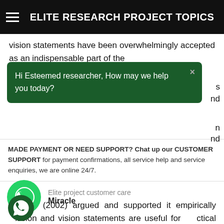ELITE RESEARCH PROJECT TOPICS
vision statements have been overwhelmingly accepted as an indispensable part of the
[Figure (screenshot): Chat popup overlay with dark green background showing message: 'Hi Esteemed researcher, How may we help you today?' with a close (×) button]
MADE PAYMENT OR NEED SUPPORT? Chat up our CUSTOMER SUPPORT for payment confirmations, all service help and service enquiries, we are online 24/7.
Elite project customer care
Miracle
Mullane (2002) argued and supported it empirically ission and vision statements are useful for ical day-to-day operations, taking a contrary view to those who assert they are archaic